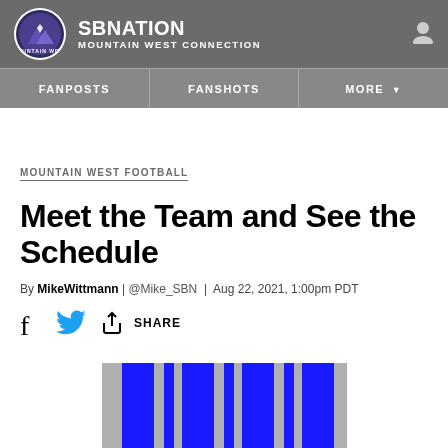SBNation — Mountain West Connection
MOUNTAIN WEST FOOTBALL
Meet the Team and See the Schedule
By MikeWittmann | @Mike_SBN | Aug 22, 2021, 1:00pm PDT
[Figure (screenshot): Social share icons: Facebook, Twitter, and a share button labeled SHARE]
[Figure (photo): Partial image showing blue and white vertical stripes, likely a jersey or banner, cropped at the bottom of the page]